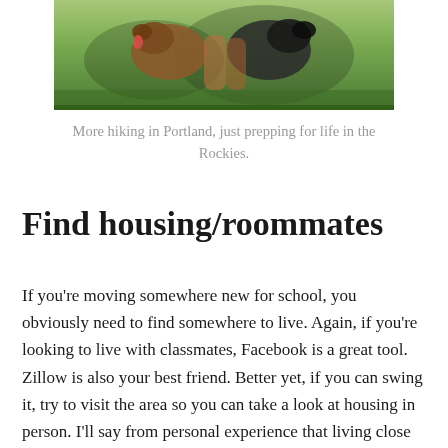[Figure (photo): Photo of dogs hiking outdoors on grass, partial view cropped at top]
More hiking in Portland, just prepping for life in the Rockies.
Find housing/roommates
If you're moving somewhere new for school, you obviously need to find somewhere to live. Again, if you're looking to live with classmates, Facebook is a great tool. Zillow is also your best friend. Better yet, if you can swing it, try to visit the area so you can take a look at housing in person. I'll say from personal experience that living close to campus is pretty great, but there are a lot of other factors that determine your ideal place to live.